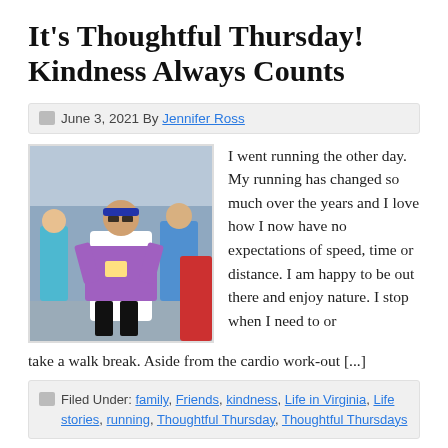It's Thoughtful Thursday! Kindness Always Counts
June 3, 2021 By Jennifer Ross
[Figure (photo): A woman in running gear with sunglasses and a white vest running in a road race with other runners in the background]
I went running the other day.  My running has changed so much over the years and I love how I now have no expectations of speed, time or distance.  I am happy to be out there and enjoy nature.  I stop when I need to or take a walk break.  Aside from the cardio work-out [...]
Filed Under: family, Friends, kindness, Life in Virginia, Life stories, running, Thoughtful Thursday, Thoughtful Thursdays